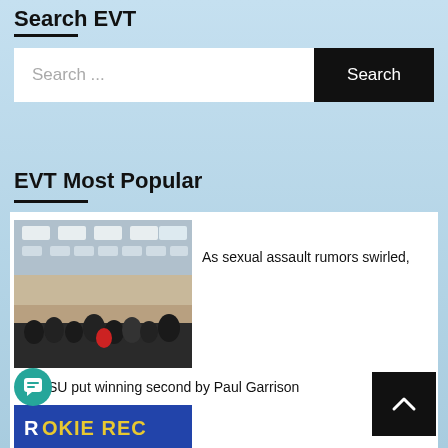Search EVT
Search ...
Search
EVT Most Popular
[Figure (photo): Crowded auditorium or lecture hall filled with people seated in rows under recessed ceiling lights]
As sexual assault rumors swirled,
SU put winning second by Paul Garrison
[Figure (photo): Colorful sports or rookie record related graphic with bold text reading ROOKIE REC]